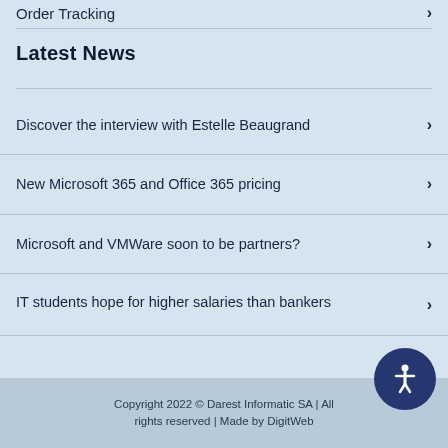Order Tracking
Latest News
Discover the interview with Estelle Beaugrand
New Microsoft 365 and Office 365 pricing
Microsoft and VMWare soon to be partners?
IT students hope for higher salaries than bankers
Copyright 2022 © Darest Informatic SA | All rights reserved | Made by DigitWeb